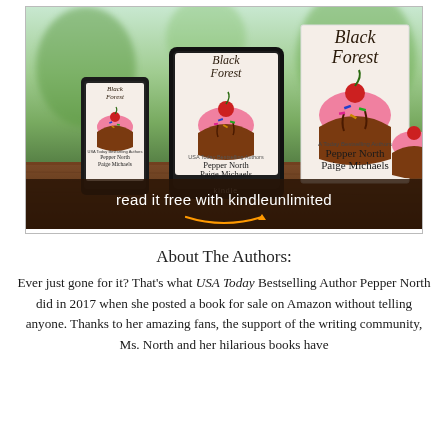[Figure (photo): Book cover promotional image showing 'Black Forest' by Pepper North and Paige Michaels displayed on a phone, Kindle e-reader, and printed book, with cupcakes featuring pink frosting and cherries on top. Text overlay reads 'read it free with kindleunlimited' with Amazon arrow logo. Background shows blurred green outdoor scene with wooden surface.]
About The Authors:
Ever just gone for it? That's what USA Today Bestselling Author Pepper North did in 2017 when she posted a book for sale on Amazon without telling anyone. Thanks to her amazing fans, the support of the writing community, Ms. North and her hilarious books have...